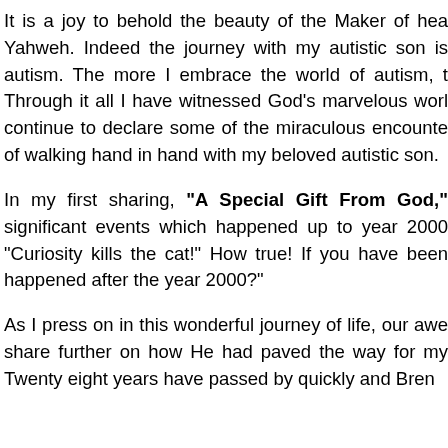It is a joy to behold the beauty of the Maker of hea Yahweh. Indeed the journey with my autistic son is autism. The more I embrace the world of autism, t Through it all I have witnessed God's marvelous worl continue to declare some of the miraculous encounte of walking hand in hand with my beloved autistic son.
In my first sharing, "A Special Gift From God," significant events which happened up to year 2000 "Curiosity kills the cat!" How true! If you have been happened after the year 2000?"
As I press on in this wonderful journey of life, our awe share further on how He had paved the way for my Twenty eight years have passed by quickly and Bren